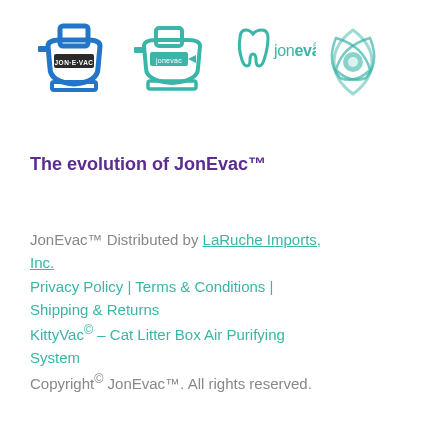[Figure (logo): Four logo versions of JonEvac brand: 1) Blue toilet silhouette with JON-E-VAC text, 2) Teal toilet outline with jonevac arrow, 3) Teal tooth icon with jonevac text, 4) Teal abstract leaf/eye shape logo]
The evolution of JonEvac™
JonEvac™ Distributed by LaRuche Imports, Inc.
Privacy Policy | Terms & Conditions | Shipping & Returns
KittyVac© – Cat Litter Box Air Purifying System
Copyright© JonEvac™. All rights reserved.